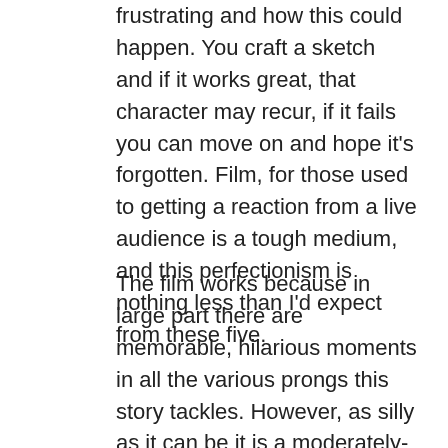frustrating and how this could happen. You craft a sketch and if it works great, that character may recur, if it fails you can move on and hope it's forgotten. Film, for those used to getting a reaction from a live audience is a tough medium, and this perfectionism is nothing less than I'd expect from these five.
The film works because in large part there are memorable, hilarious moments in all the various prongs this story tackles. However, as silly as it can be it is a moderately-positioned send up over-medication; the fine-line between wanting to be happy all the time and depression. It takes a hard, skeptical look at the pharmaceutical industry, as one of key plot